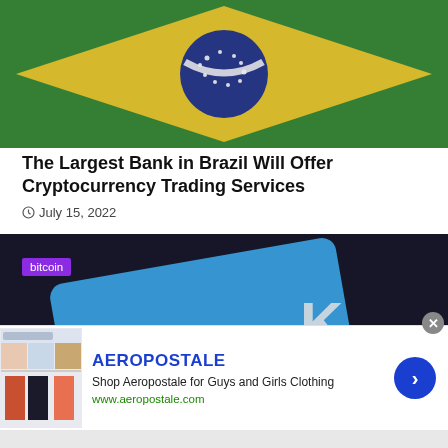[Figure (photo): Brazilian flag with green background, yellow diamond, and blue circle in center]
The Largest Bank in Brazil Will Offer Cryptocurrency Trading Services
July 15, 2022
[Figure (photo): Blue card or object on dark background with white K logo, labeled bitcoin]
[Figure (photo): Aeropostale advertisement showing clothing items with brand name and website www.aeropostale.com]